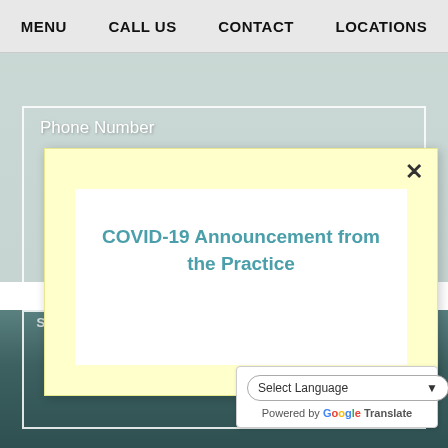MENU   CALL US   CONTACT   LOCATIONS
Phone Number
COVID-19 Announcement from the Practice
SEND MESSAGE
Select Language
Powered by Google Translate